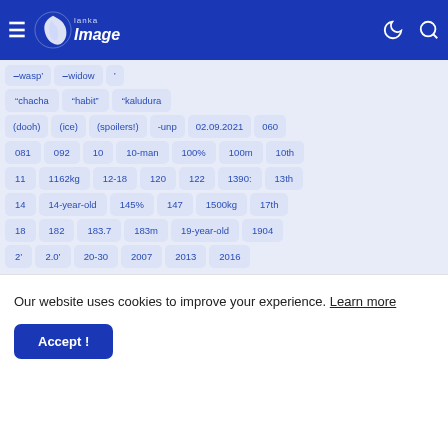Lanka Image navigation bar with hamburger menu, logo, moon icon, and search icon
&#8210;wasp&#8217;
&#8210;widow
&#8217;
&#8220;chacha
&#8220;habit&#8221;
&#8220;kaludura
(dooh)
(ice)
(spoilers!)
-unp
02.09.2021
060
081
092
10
10-man
100%
100m
10th
11
1162kg
12-18
120
122
1390:
13th
14
14-year-old
145%
147
1500kg
17th
18
182
183.7
183m
19-year-old
1904
2&#8217;
2.0&#8217;
20-30
2007
2013
2016
Our website uses cookies to improve your experience. Learn more
Accept !